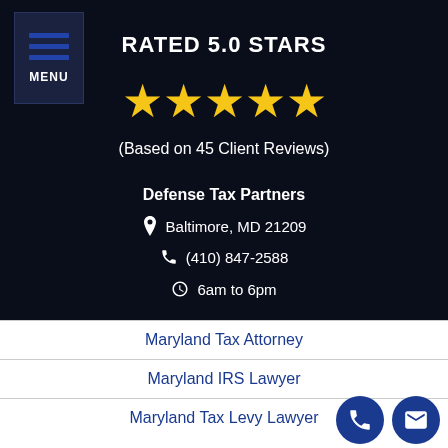[Figure (other): Menu button with three horizontal blue lines and MENU label on dark background]
RATED 5.0 STARS
[Figure (other): Five gold star rating icons]
(Based on 45 Client Reviews)
Defense Tax Partners
Baltimore, MD 21209
(410) 847-2588
6am to 6pm
Maryland Tax Attorney
Maryland IRS Lawyer
Maryland Tax Levy Lawyer